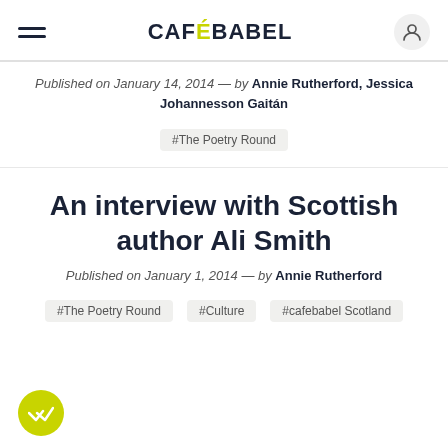CAFEBABEL
Published on January 14, 2014 — by Annie Rutherford, Jessica Johannesson Gaitán
#The Poetry Round
An interview with Scottish author Ali Smith
Published on January 1, 2014 — by Annie Rutherford
#The Poetry Round  #Culture  #cafebabel Scotland